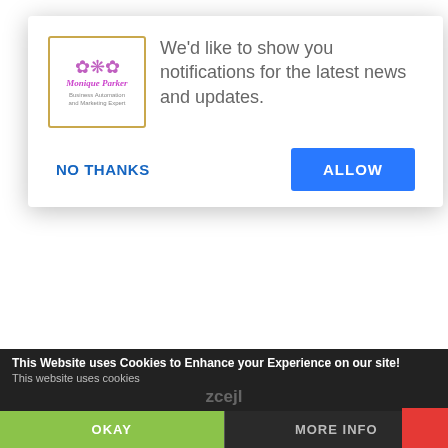[Figure (screenshot): Browser notification permission popup with logo of 'Monique Parker - Business Automation and Marketing Expert', text 'We'd like to show you notifications for the latest news and updates.', with NO THANKS and ALLOW buttons]
Membership
Courses
Resources
Done4
Standout Social Promoter VIP
PR Amplifier
About
This Website uses Cookies to Enhance your Experience on our site!
This website uses cookies
OKAY
MORE INFO